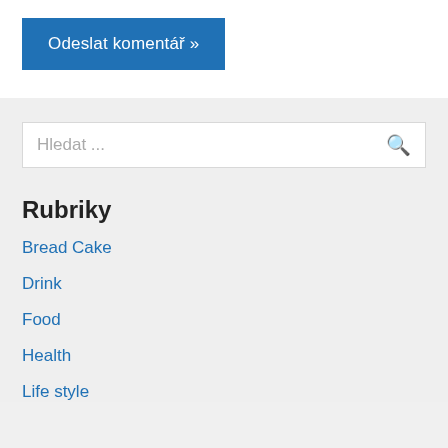Odeslat komentář »
Hledat ...
Rubriky
Bread Cake
Drink
Food
Health
Life style